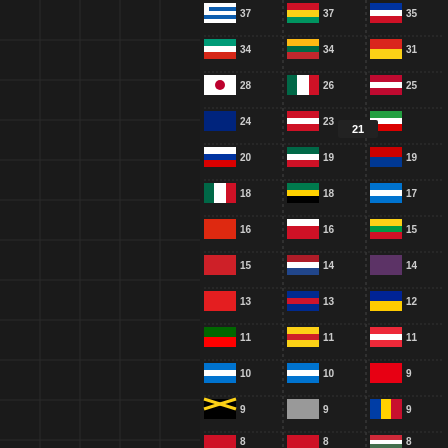[Figure (infographic): Three-column list of country flags with numeric counts. Dark background. Values visible: 37, 37, 35, 34, 34, 31, 28, 26, 25, 24, 23, 21 (tooltip), 20, 19, 19, 18, 18, 17, 16, 16, 15, 15, 14, 14, 13, 13, 12, 11, 11, 11, 10, 10, 9, 9, 9, 9, 8, 8, 8, 8, 7, 6, 6, 6, 6, 5, 5, 5, 5, 5, 5, 5, 4, 4, 4, 4, 4, 4, 3, 3, 3, 3, 3, 3, 3, 3, 3, 3, 3, 3, 3, 3, 2, 2, 2, 2, 2, 2]